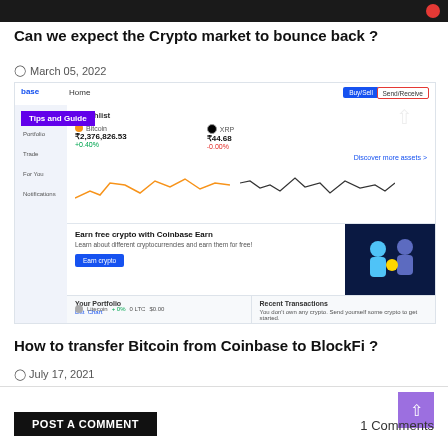[Figure (screenshot): Top dark image bar from a webpage]
Can we expect the Crypto market to bounce back ?
March 05, 2022
[Figure (screenshot): Coinbase website screenshot showing Watchlist with Bitcoin price ₹2,376,826.53 (+0.40%) and XRP price ₹44.68 (-0.00%), mini line charts, Earn free crypto with Coinbase Earn banner, and Your Portfolio section]
How to transfer Bitcoin from Coinbase to BlockFi ?
July 17, 2021
POST A COMMENT
1 Comments